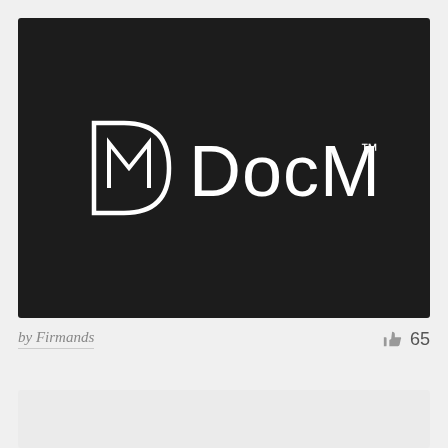[Figure (logo): DocMo logo — white DM monogram lettermark inside a rounded-corner D shape, followed by 'DocMo' wordmark in white on a dark background, with a TM superscript.]
by Firmands
65